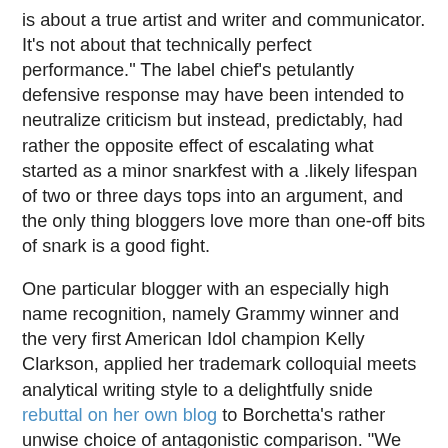is about a true artist and writer and communicator. It's not about that technically perfect performance." The label chief's petulantly defensive response may have been intended to neutralize criticism but instead, predictably, had rather the opposite effect of escalating what started as a minor snarkfest with a .likely lifespan of two or three days tops into an argument, and the only thing bloggers love more than one-off bits of snark is a good fight.
One particular blogger with an especially high name recognition, namely Grammy winner and the very first American Idol champion Kelly Clarkson, applied her trademark colloquial meets analytical writing style to a delightfully snide rebuttal on her own blog to Borchetta's rather unwise choice of antagonistic comparison. "We not only hit the high notes, you forgot to mention we generally hit the ‘right’ notes as well," she wrote after admonishing the exec for his Idol diss, closing with some entirely correct and appropriate advice: that "instead of lashing out at other artists (that in your ‘humble’ opinion lack true artistry), you should simply take a breath and realize that sometimes things won’t go according to plan or work out and that’s